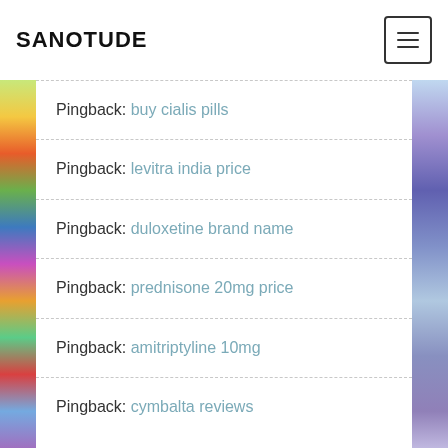SANOTUDE
Pingback: buy cialis pills
Pingback: levitra india price
Pingback: duloxetine brand name
Pingback: prednisone 20mg price
Pingback: amitriptyline 10mg
Pingback: cymbalta reviews